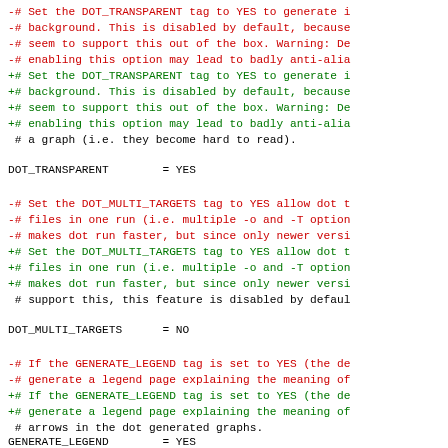-# Set the DOT_TRANSPARENT tag to YES to generate i
-# background. This is disabled by default, because
-# seem to support this out of the box. Warning: De
-# enabling this option may lead to badly anti-alia
+# Set the DOT_TRANSPARENT tag to YES to generate i
+# background. This is disabled by default, because
+# seem to support this out of the box. Warning: De
+# enabling this option may lead to badly anti-alia
# a graph (i.e. they become hard to read).
DOT_TRANSPARENT        = YES
-# Set the DOT_MULTI_TARGETS tag to YES allow dot t
-# files in one run (i.e. multiple -o and -T option
-# makes dot run faster, but since only newer versi
+# Set the DOT_MULTI_TARGETS tag to YES allow dot t
+# files in one run (i.e. multiple -o and -T option
+# makes dot run faster, but since only newer versi
# support this, this feature is disabled by defaul
DOT_MULTI_TARGETS      = NO
-# If the GENERATE_LEGEND tag is set to YES (the de
-# generate a legend page explaining the meaning of
+# If the GENERATE_LEGEND tag is set to YES (the de
+# generate a legend page explaining the meaning of
# arrows in the dot generated graphs.
GENERATE_LEGEND        = YES